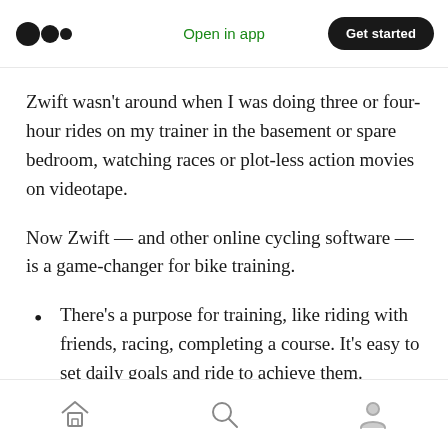Medium logo | Open in app | Get started
Zwift wasn't around when I was doing three or four-hour rides on my trainer in the basement or spare bedroom, watching races or plot-less action movies on videotape.
Now Zwift — and other online cycling software — is a game-changer for bike training.
There's a purpose for training, like riding with friends, racing, completing a course. It's easy to set daily goals and ride to achieve them.
Home | Search | Profile